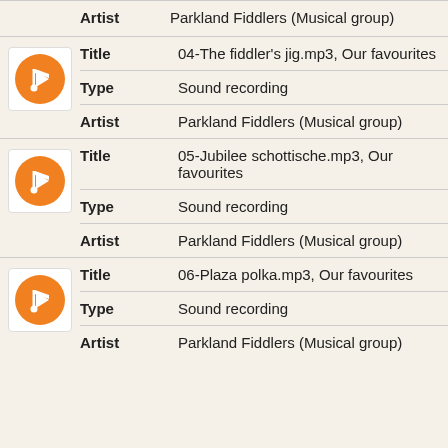Artist: Parkland Fiddlers (Musical group)
Title: 04-The fiddler's jig.mp3, Our favourites
Type: Sound recording
Artist: Parkland Fiddlers (Musical group)
Title: 05-Jubilee schottische.mp3, Our favourites
Type: Sound recording
Artist: Parkland Fiddlers (Musical group)
Title: 06-Plaza polka.mp3, Our favourites
Type: Sound recording
Artist: Parkland Fiddlers (Musical group)